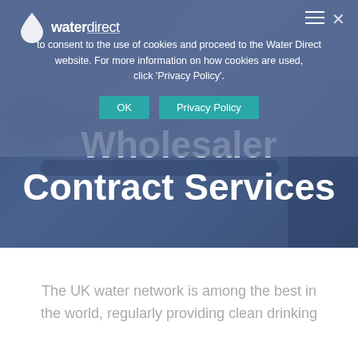[Figure (screenshot): Water Direct website screenshot showing a cookie consent banner overlay on top of a hero section with dark blue tinted background and a worker with pipes. The hero section shows 'Wholesaler Contract Services' title in white bold text. Below is a white section with grey body text.]
to consent to the use of cookies and proceed to the Water Direct website. For more information on how cookies are used, click 'Privacy Policy'.
OK
Privacy Policy
Wholesaler Contract Services
The UK water network is among the best in the world, regularly providing clean drinking